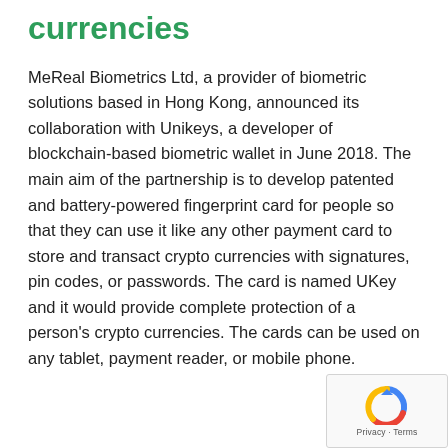currencies
MeReal Biometrics Ltd, a provider of biometric solutions based in Hong Kong, announced its collaboration with Unikeys, a developer of blockchain-based biometric wallet in June 2018. The main aim of the partnership is to develop patented and battery-powered fingerprint card for people so that they can use it like any other payment card to store and transact crypto currencies with signatures, pin codes, or passwords. The card is named UKey and it would provide complete protection of a person's crypto currencies. The cards can be used on any tablet, payment reader, or mobile phone.
[Figure (logo): reCAPTCHA logo with Privacy · Terms text]